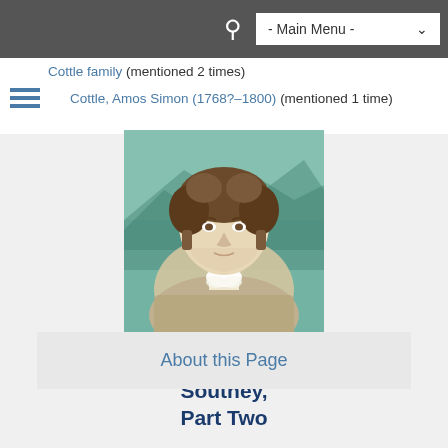- Main Menu -
Cottle family (mentioned 2 times)
Cottle, Amos Simon (1768?–1800) (mentioned 1 time)
[Figure (photo): Portrait illustration of Robert Southey, a man with curly hair, wearing a white cravat, set against a green mountainous background.]
The Collected Letters of Robert Southey, Part Two
About this Page